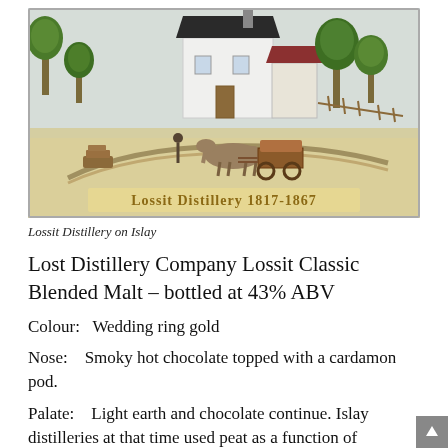[Figure (illustration): Illustration of Lossit Distillery on Islay, showing a white farmhouse building with a dark roof and chimney, surrounded by green trees, with a horse-drawn cart in front and stone walls. Gold text at the bottom reads 'Lossit Distillery 1817-1867'.]
Lossit Distillery on Islay
Lost Distillery Company Lossit Classic Blended Malt – bottled at 43% ABV
Colour:   Wedding ring gold
Nose:    Smoky hot chocolate topped with a cardamon pod.
Palate:    Light earth and chocolate continue. Islay distilleries at that time used peat as a function of